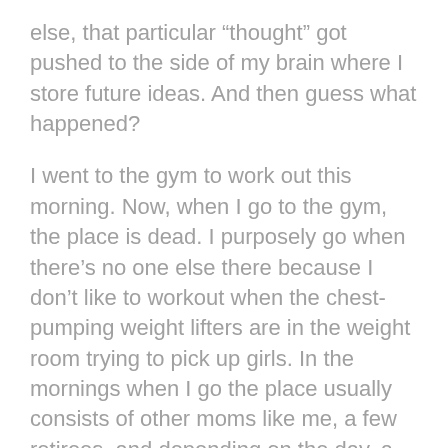else, that particular “thought” got pushed to the side of my brain where I store future ideas. And then guess what happened?
I went to the gym to work out this morning. Now, when I go to the gym, the place is dead. I purposely go when there’s no one else there because I don’t like to workout when the chest-pumping weight lifters are in the weight room trying to pick up girls. In the mornings when I go the place usually consists of other moms like me, a few retirees, and depending on the day, a group of elderly women and men from the nearby retirement home. So today I got there, dropped the kids off at the daycare, and bopped up to the weight room like I do every day. Then stopped short when my jaw nearly hit the floor.